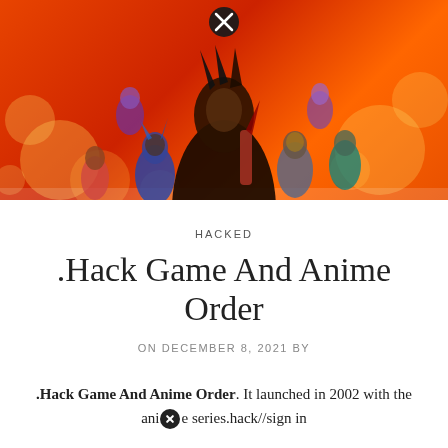[Figure (illustration): Anime-style group of characters in dark armor and colorful outfits against an orange bokeh background with a close/X button overlay at the top center]
HACKED
.Hack Game And Anime Order
ON DECEMBER 8, 2021 BY
.Hack Game And Anime Order. It launched in 2002 with the anime series.hack//sign in